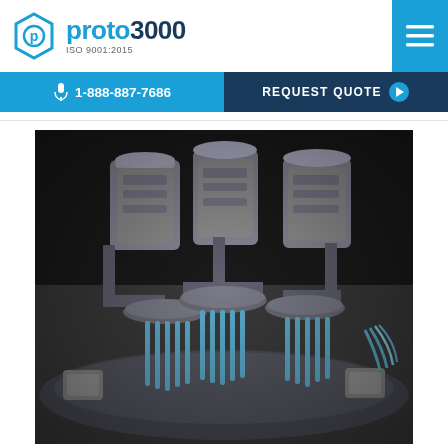proto3000 ISO 9001:2015
1-888-887-7686 | REQUEST QUOTE
[Figure (photo): Interior of an industrial manufacturing machine showing multiple rotary spindle assemblies with stainless steel cylindrical heads, blue vertical rods, and circular platform plates, arranged on a turntable carousel. The machinery appears to be a multi-station CNC or automated assembly machine photographed from above at an angle.]